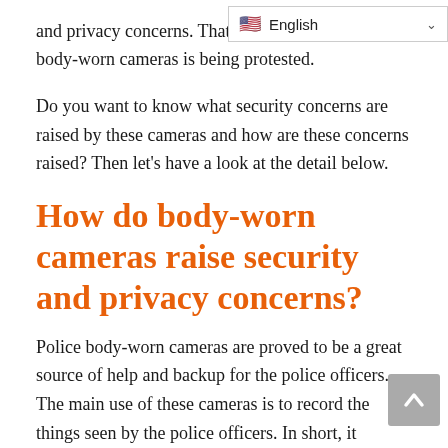and privacy concerns. That's w... f body-worn cameras is being protested.
[Figure (screenshot): Language selector widget showing US flag and 'English' text with a dropdown chevron]
Do you want to know what security concerns are raised by these cameras and how are these concerns raised? Then let's have a look at the detail below.
How do body-worn cameras raise security and privacy concerns?
Police body-worn cameras are proved to be a great source of help and backup for the police officers. The main use of these cameras is to record the things seen by the police officers. In short, it behaves as an extra eye for the officer. As a result, the sense of sight is deeply sharpened and increased. The use of body-worn